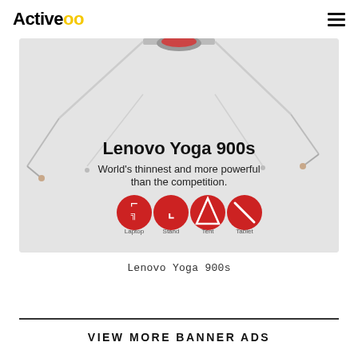Activeoo
[Figure (screenshot): Lenovo Yoga 900s advertisement banner showing a laptop with text 'Lenovo Yoga 900s - World's thinnest and more powerful than the competition.' with four red circular mode icons labeled Laptop, Stand, Tent, Tablet at the bottom.]
Lenovo Yoga 900s
VIEW MORE BANNER ADS